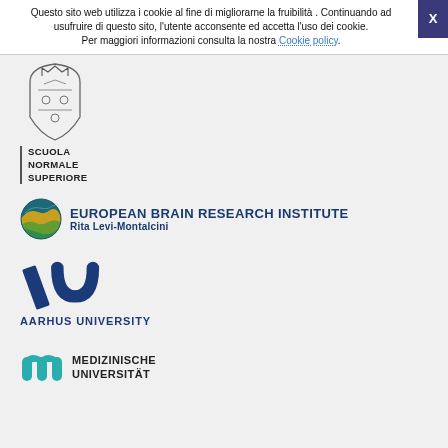Questo sito web utilizza i cookie al fine di migliorarne la fruibilità . Continuando ad usufruire di questo sito, l'utente acconsente ed accetta l'uso dei cookie. Per maggiori informazioni consulta la nostra Cookie policy.
[Figure (logo): Scuola Normale Superiore crest logo with crown and heraldic shield]
[Figure (logo): Text: SCUOLA NORMALE SUPERIORE with vertical bar on left]
[Figure (logo): European Brain Research Institute Rita Levi-Montalcini logo with globe icon]
[Figure (logo): Aarhus University logo with stylized AU mark in dark blue]
[Figure (logo): Medizinische Universität logo with stylized M arches icon, text: MEDIZINISCHE UNIVERSITÄT]